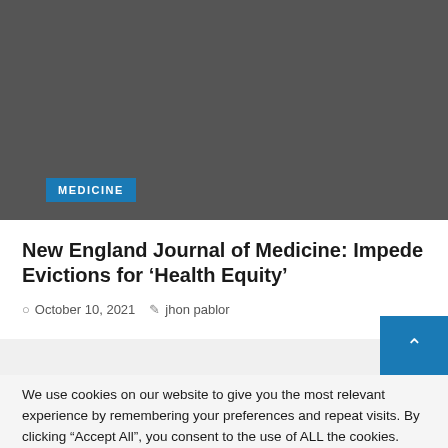[Figure (photo): Dark gray hero image area for article thumbnail]
MEDICINE
New England Journal of Medicine: Impede Evictions for ‘Health Equity’
October 10, 2021   jhon pablor
We use cookies on our website to give you the most relevant experience by remembering your preferences and repeat visits. By clicking “Accept All”, you consent to the use of ALL the cookies.